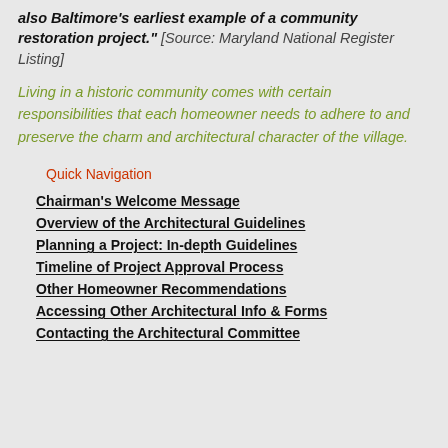also Baltimore's earliest example of a community restoration project." [Source: Maryland National Register Listing]
Living in a historic community comes with certain responsibilities that each homeowner needs to adhere to and preserve the charm and architectural character of the village.
Quick Navigation
Chairman's Welcome Message
Overview of the Architectural Guidelines
Planning a Project: In-depth Guidelines
Timeline of Project Approval Process
Other Homeowner Recommendations
Accessing Other Architectural Info & Forms
Contacting the Architectural Committee